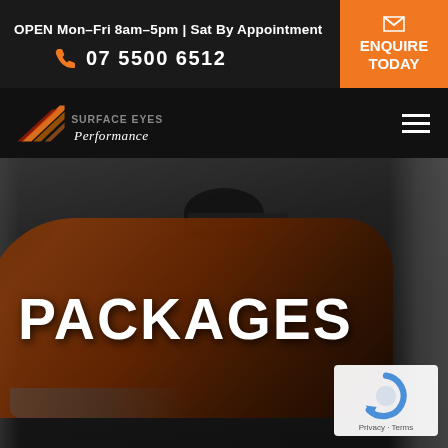OPEN Mon-Fri 8am-5pm | Sat By Appointment
07 5500 6512
ENQUIRE TODAY
[Figure (logo): Performance automotive shop logo with chevron/speed stripe design and italic 'Performance' text]
PACKAGES
[Figure (photo): Dark orange/burnt orange sports car (Corvette-style) parked inside a garage bay, dark moody lighting]
Privacy - Terms